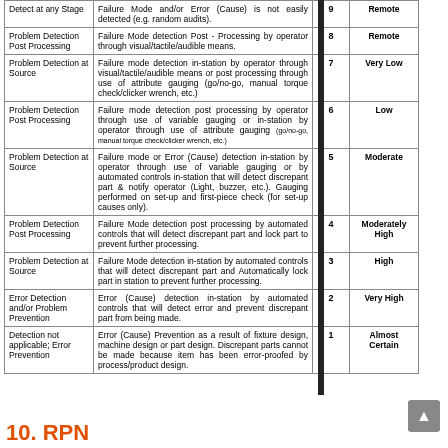| Detection Type | Description | Rank | Criteria |
| --- | --- | --- | --- |
| Detect at any Stage | Failure Mode and/or Error (Cause) is not easily detected (e.g. random audits). | 9 | Remote |
| Problem Detection Post Processing | Failure Mode detection Post - Processing by operator through visual/tactile/audible means. | 8 | Remote |
| Problem Detection at Source | Failure mode detection in-station by operator through visual/tactile/audible means or post processing through use of attribute gauging (go/no-go, manual torque check/clicker wrench, etc.) | 7 | Very Low |
| Problem Detection Post Processing | Failure mode detection post processing by operator through use of variable gauging or in-station by operator through use of attribute gauging (go/no-go, manual torque check/clicker wrench, etc.) | 6 | Low |
| Problem Detection at Source | Failure mode or Error (Cause) detection in-station by operator through use of variable gauging or by automated controls in-station that will detect discrepant part & notify operator (Light, buzzer, etc.). Gauging performed on set-up and first-piece check (for set-up causes only). | 5 | Moderate |
| Problem Detection Post Processing | Failure Mode detection post processing by automated controls that will detect discrepant part and lock part to prevent further processing. | 4 | Moderately High |
| Problem Detection at Source | Failure Mode detection in-station by automated controls that will detect discrepant part and Automatically lock part in station to prevent further processing. | 3 | High |
| Error Detection and/or Problem Prevention | Error (Cause) detection in-station by automated controls that will detect error and prevent discrepant part from being made. | 2 | Very High |
| Detection not applicable; Error Prevention | Error (Cause) Prevention as a result of fixture design, machine design or part design. Discrepant parts cannot be made because item has been error-proofed by process/product design. | 1 | Almost Certain |
10. RPN